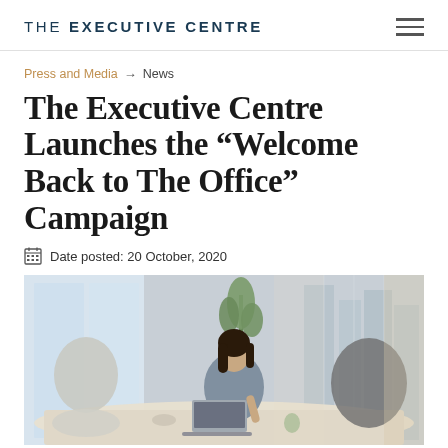THE EXECUTIVE CENTRE
Press and Media → News
The Executive Centre Launches the “Welcome Back to The Office” Campaign
Date posted: 20 October, 2020
[Figure (photo): A woman sitting at a conference table in a modern office, working on a laptop, with large windows showing a city skyline in the background.]